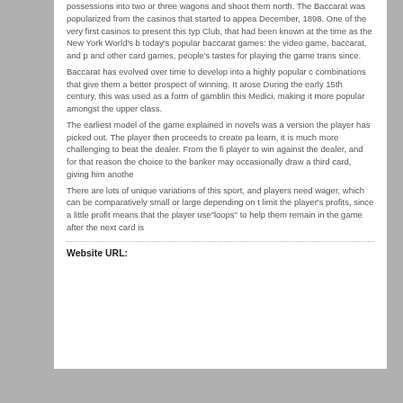possessions into two or three wagons and shoot them north. The Baccarat was popularized from the casinos that started to appea December, 1898. One of the very first casinos to present this typ Club, that had been known at the time as the New York World's b today's popular baccarat games: the video game, baccarat, and p and other card games, people's tastes for playing the game trans since. Baccarat has evolved over time to develop into a highly popular c combinations that give them a better prospect of winning. It arose During the early 15th century, this was used as a form of gamblin this Medici, making it more popular amongst the upper class. The earliest model of the game explained in novels was a version the player has picked out. The player then proceeds to create pa learn, it is much more challenging to beat the dealer. From the fi player to win against the dealer, and for that reason the choice to the banker may occasionally draw a third card, giving him anothe There are lots of unique variations of this sport, and players need wager, which can be comparatively small or large depending on t limit the player's profits, since a little profit means that the player use"loops" to help them remain in the game after the next card is
Website URL: